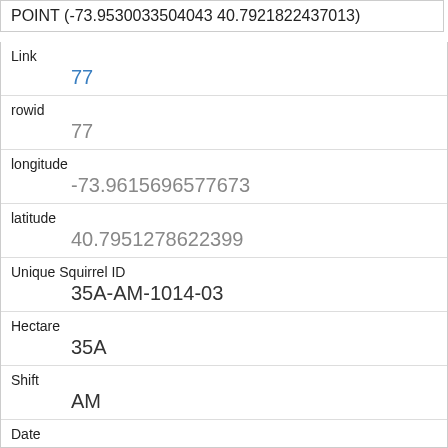POINT (-73.9530033504043 40.7921822437013)
| Field | Value |
| --- | --- |
| Link | 77 |
| rowid | 77 |
| longitude | -73.9615696577673 |
| latitude | 40.7951278622399 |
| Unique Squirrel ID | 35A-AM-1014-03 |
| Hectare | 35A |
| Shift | AM |
| Date | 10142018 |
| Hectare Squirrel Number | 3 |
| Age |  |